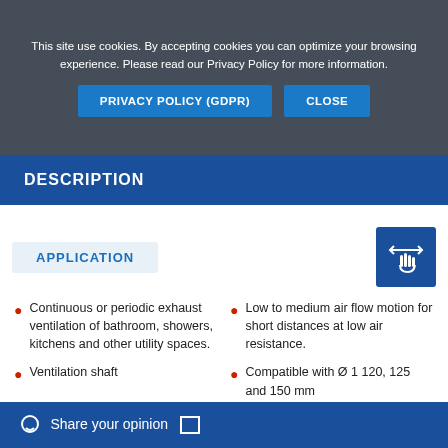This site use cookies. By accepting cookies you can optimize your browsing experience. Please read our Privacy Policy for more information.
PRIVACY POLICY (GDPR)
CLOSE
DESCRIPTION
APPLICATION
Continuous or periodic exhaust ventilation of bathroom, showers, kitchens and other utility spaces.
Ventilation shaft
Low to medium air flow motion for short distances at low air resistance.
Compatible with Ø 1 120, 125 and 150 mm
Share your opinion